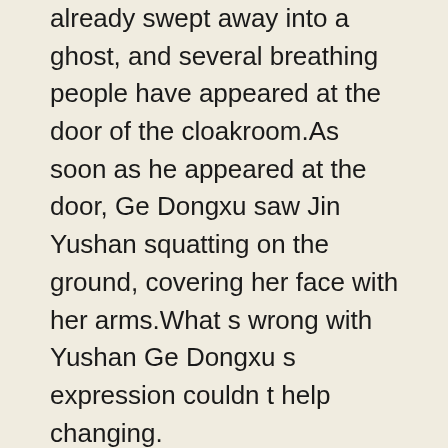already swept away into a ghost, and several breathing people have appeared at the door of the cloakroom.As soon as he appeared at the door, Ge Dongxu saw Jin Yushan squatting on the ground, covering her face with her arms.What s wrong with Yushan Ge Dongxu s expression couldn t help changing. Therefore ballooning male enhancement, it is said that when a person lives a breath, the Buddha fights for a stick of incense. Roman health reviews The Qi here actually refers to this strand of truth that exists in the meridians.Gas.Ge Dongxu continued to explain.It turns out that people can breathe a sigh of life, and the Buddha argues for a stick of incense.There is such an explanation.Liu Jiayao couldn t help but interject when she heard her eyes light up slightly.The human body has twelve serious meridians and eight odd meridians.Each of the twelve serious meridians is responsible for the organs in a human body.The true qi in the human body